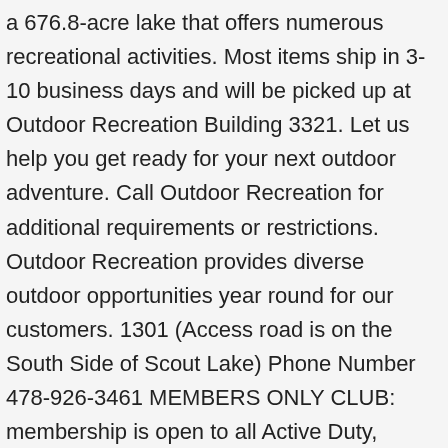a 676.8-acre lake that offers numerous recreational activities. Most items ship in 3-10 business days and will be picked up at Outdoor Recreation Building 3321. Let us help you get ready for your next outdoor adventure. Call Outdoor Recreation for additional requirements or restrictions. Outdoor Recreation provides diverse outdoor opportunities year round for our customers. 1301 (Access road is on the South Side of Scout Lake) Phone Number 478-926-3461 MEMBERS ONLY CLUB: membership is open to all Active Duty, Reserve, Retired Military, DoD Civilians, and the general public. ... MWR has 20 self-storage units available for rent. Learn more about Fleet & Family Readiness Programs and services. Owners are liable for all liquids and greases that drip from their vehicle. All outstanding fees, towing charges, and storage charges from